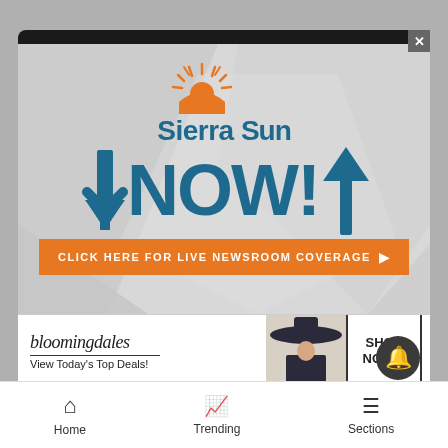[Figure (logo): Sierra Sun NOW! news app promotional banner with geometric polygon grey background, orange sun/sunburst logo icon, blue bold 'Sierra Sun' text, 'NOW!' in large blue letters with an upward blue arrow, a downward blue arrow below left, and an orange call-to-action button reading 'CLICK HERE FOR LIVE NEWSROOM COVERAGE' with right-pointing arrow]
[Figure (photo): Bloomingdale's advertisement banner: bloomingdales brand name in serif font, 'View Today's Top Deals!' tagline, photo of woman in large brimmed hat, 'SHOP NOW >' button in bordered box]
Home   Trending   Sections